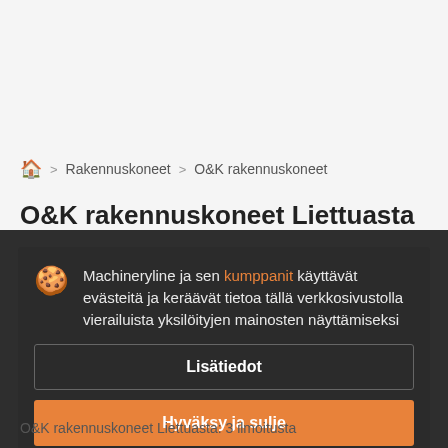🏠 > Rakennuskoneet > O&K rakennuskoneet
O&K rakennuskoneet Liettuasta
Machineryline ja sen kumppanit käyttävät evästeitä ja keräävät tietoa tällä verkkosivustolla vierailuista yksilöityjen mainosten näyttämiseksi
Lisätiedot
Hyväksy ja sulje
O&K rakennuskoneet Liettuasta: 3 ilmoitusta